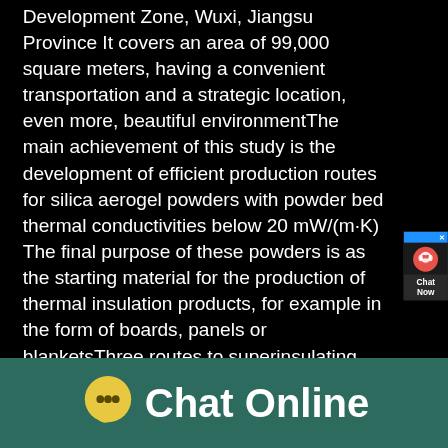Development Zone, Wuxi, Jiangsu Province It covers an area of 99,000 square meters, having a convenient transportation and a strategic location, even more, beautiful environmentThe main achievement of this study is the development of efficient production routes for silica aerogel powders with powder bed thermal conductivities below 20 mW/(m·K) The final purpose of these powders is as the starting material for the production of thermal insulation products, for example in the form of boards, panels or blanketsThree routes to superinsulating silica aerogel powder
[Figure (photo): Interior of an industrial warehouse or factory building showing metal roof structure with yellow railing/walkway and large white cylindrical or curved storage tanks/silos]
[Figure (infographic): Chat widget popup with headset icon and 'Chat Now' button in dark background]
Chat Online